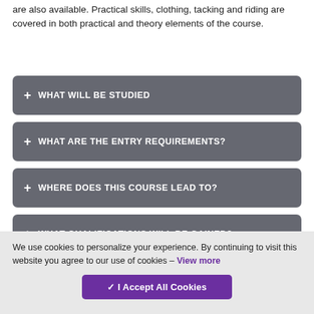are also available. Practical skills, clothing, tacking and riding are covered in both practical and theory elements of the course.
+ WHAT WILL BE STUDIED
+ WHAT ARE THE ENTRY REQUIREMENTS?
+ WHERE DOES THIS COURSE LEAD TO?
+ WHAT QUALIFICATIONS WILL BE GAINED?
+ HOW WILL THIS COURSE BE DELIVERED?
We use cookies to personalize your experience. By continuing to visit this website you agree to our use of cookies – View more
✓ I Accept All Cookies